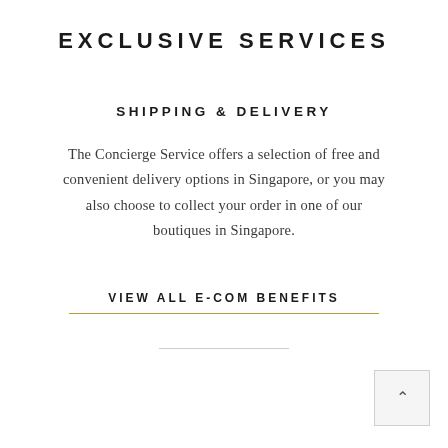EXCLUSIVE SERVICES
SHIPPING & DELIVERY
The Concierge Service offers a selection of free and convenient delivery options in Singapore, or you may also choose to collect your order in one of our boutiques in Singapore.
VIEW ALL E-COM BENEFITS